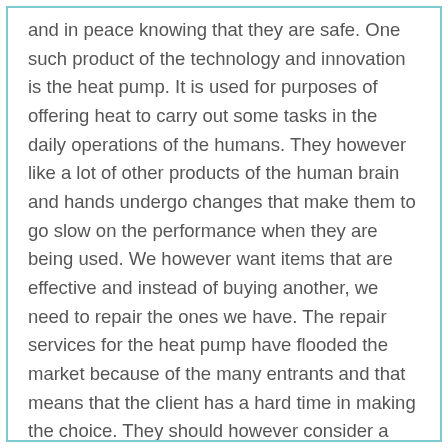and in peace knowing that they are safe. One such product of the technology and innovation is the heat pump. It is used for purposes of offering heat to carry out some tasks in the daily operations of the humans. They however like a lot of other products of the human brain and hands undergo changes that make them to go slow on the performance when they are being used. We however want items that are effective and instead of buying another, we need to repair the ones we have. The repair services for the heat pump have flooded the market because of the many entrants and that means that the client has a hard time in making the choice. They should however consider a number of factors when choosing the heat pump repair services.